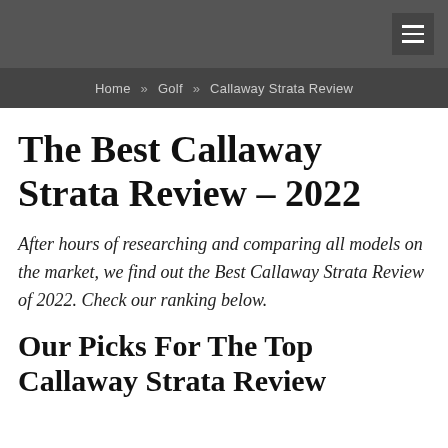≡ (hamburger menu button)
Home » Golf » Callaway Strata Review
The Best Callaway Strata Review – 2022
After hours of researching and comparing all models on the market, we find out the Best Callaway Strata Review of 2022. Check our ranking below.
Our Picks For The Top Callaway Strata Review